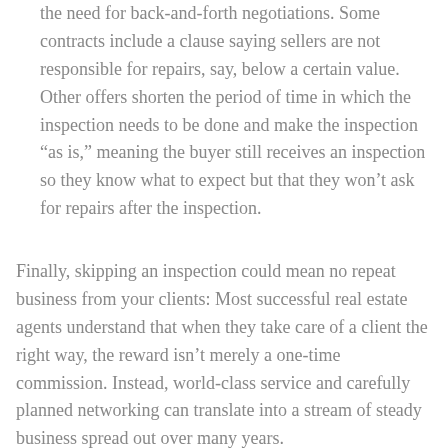the need for back-and-forth negotiations. Some contracts include a clause saying sellers are not responsible for repairs, say, below a certain value. Other offers shorten the period of time in which the inspection needs to be done and make the inspection “as is,” meaning the buyer still receives an inspection so they know what to expect but that they won’t ask for repairs after the inspection.
Finally, skipping an inspection could mean no repeat business from your clients: Most successful real estate agents understand that when they take care of a client the right way, the reward isn’t merely a one-time commission. Instead, world-class service and carefully planned networking can translate into a stream of steady business spread out over many years.